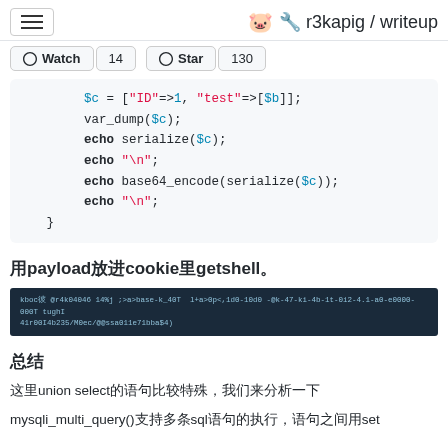r3kapig / writeup
Watch 14  Star 130
用payload放进cookie里getshell。
[Figure (screenshot): Terminal screenshot showing a command with encoded payload and response]
总结
这里union select的语句比较特殊，我们来分析一下
mysqli_multi_query()支持多条sql语句的执行，语句之间用set